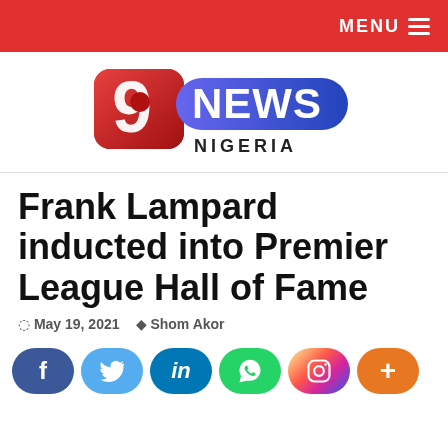MENU
[Figure (logo): 9 News Nigeria logo — red square with '9' and circle, blue banner with 'NEWS', 'NIGERIA' text below]
Frank Lampard inducted into Premier League Hall of Fame
May 19, 2021  Shom Akor
[Figure (infographic): Social media share buttons: Facebook (blue), Twitter (light blue), LinkedIn (dark blue), WhatsApp (green), Instagram (gradient), More (orange)]